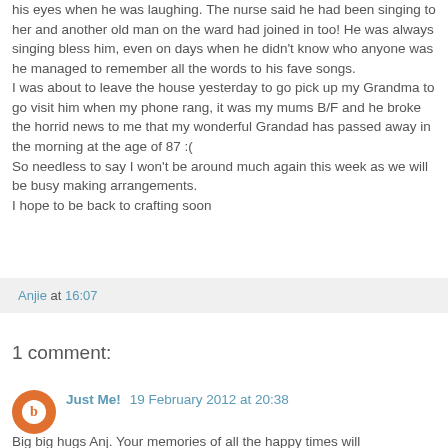his eyes when he was laughing. The nurse said he had been singing to her and another old man on the ward had joined in too! He was always singing bless him, even on days when he didn't know who anyone was he managed to remember all the words to his fave songs.
I was about to leave the house yesterday to go pick up my Grandma to go visit him when my phone rang, it was my mums B/F and he broke the horrid news to me that my wonderful Grandad has passed away in the morning at the age of 87 :(
So needless to say I won't be around much again this week as we will be busy making arrangements.
I hope to be back to crafting soon
Anjie at 16:07
1 comment:
Just Me! 19 February 2012 at 20:38
Big big hugs Anj. Your memories of all the happy times will